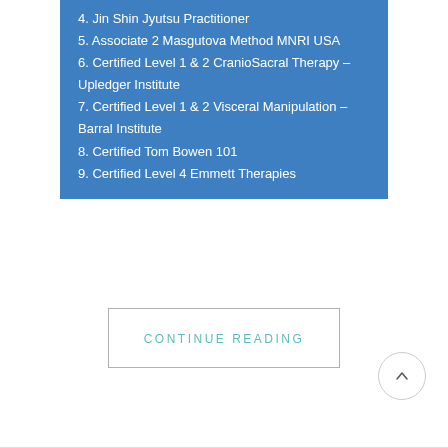4. Jin Shin Jyutsu Practitioner
5. Associate 2 Masgutova Method MNRI USA
6. Certified Level 1 & 2 CranioSacral Therapy – Upledger Institute
7. Certified Level 1 & 2 Visceral Manipulation – Barral Institute
8. Certified Tom Bowen 101
9. Certified Level 4 Emmett Therapies
CONTINUE READING